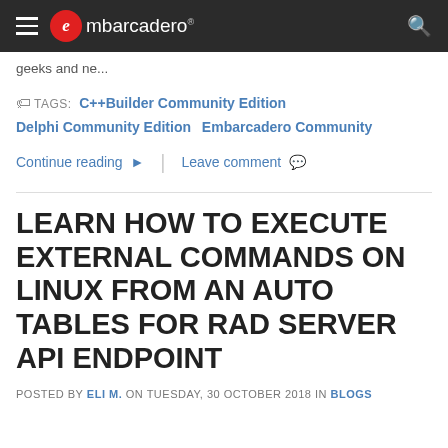embarcadero®
geeks and ne...
TAGS: C++Builder Community Edition  Delphi Community Edition  Embarcadero Community
Continue reading ▶   |   Leave comment 💬
LEARN HOW TO EXECUTE EXTERNAL COMMANDS ON LINUX FROM AN AUTO TABLES FOR RAD SERVER API ENDPOINT
POSTED BY ELI M. ON TUESDAY, 30 OCTOBER 2018 IN BLOGS